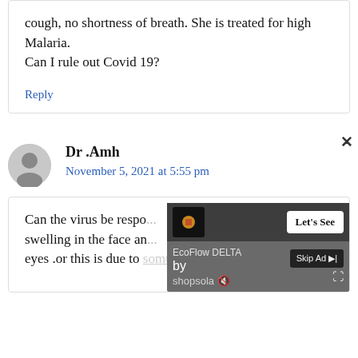cough, no shortness of breath. She is treated for high Malaria.
Can I rule out Covid 19?
Reply
Dr .Amh
November 5, 2021 at 5:55 pm
Can the virus be respo... swelling in the face an... eyes .or this is due to somthin els like